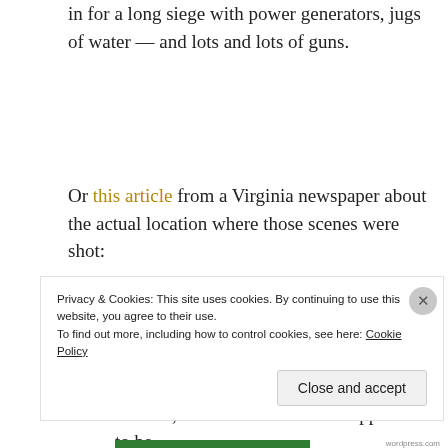in for a long siege with power generators, jugs of water — and lots and lots of guns.
Or this article from a Virginia newspaper about the actual location where those scenes were shot:
Landon Graham said he was approached in September 2017 about using his rural property to serve as the location for the hideout, which in the show is supposed to be
Privacy & Cookies: This site uses cookies. By continuing to use this website, you agree to their use.
To find out more, including how to control cookies, see here: Cookie Policy
Close and accept